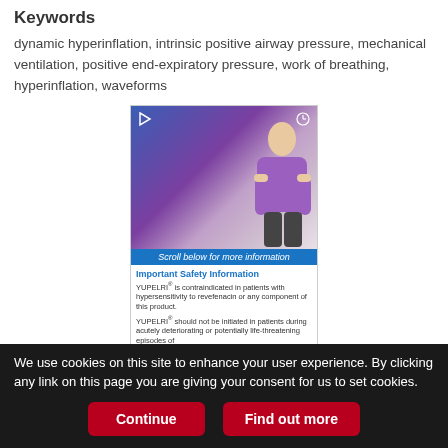Keywords
dynamic hyperinflation, intrinsic positive airway pressure, mechanical ventilation, positive end-expiratory pressure, work of breathing, hyperinflation, waveforms
[Figure (screenshot): Advertisement image for YUPELRI medication showing a woman in a purple cardigan, with gradient blue-purple background, play and clock icons, a blue 'Scroll below for more information' bar, and Important Safety Information text below.]
We use cookies on this site to enhance your user experience. By clicking any link on this page you are giving your consent for us to set cookies.